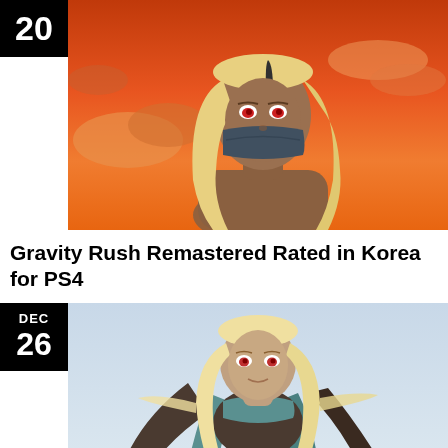[Figure (illustration): Anime-style character with long blonde hair, dark skin, red eyes, and a dark scarf/mask covering the lower face, against an orange sunset sky with clouds. Black badge with '20' in top-left corner.]
Gravity Rush Remastered Rated in Korea for PS4
[Figure (illustration): Anime-style character with long blonde hair, red eyes, wearing a dark cloak with teal lining, appearing to float or fly against a light blue-grey sky. Badge shows 'DEC 26' in top-left corner.]